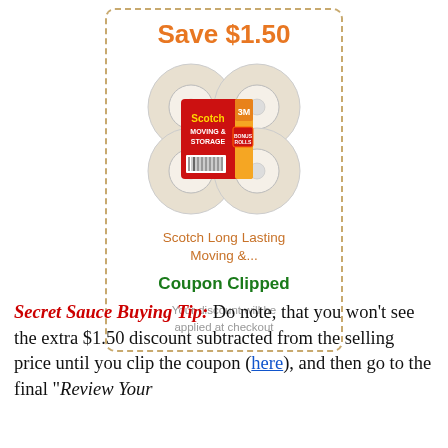[Figure (other): Coupon box with dashed orange border containing: 'Save $1.50' heading in orange, product image of Scotch Moving & Storage tape (4 rolls), product name 'Scotch Long Lasting Moving &...', 'Coupon Clipped' text in green, and 'Your discount will be applied at checkout' note in gray.]
Secret Sauce Buying Tip: Do note, that you won't see the extra $1.50 discount subtracted from the selling price until you clip the coupon (here), and then go to the final "Review Your